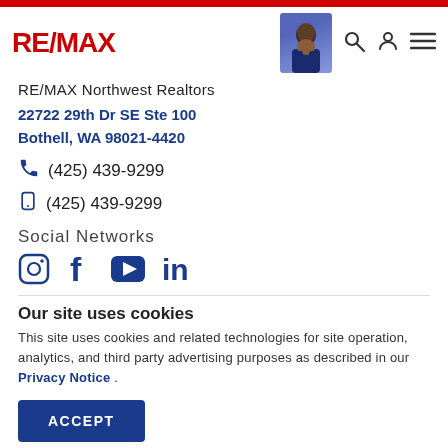[Figure (logo): RE/MAX logo in red with bold text and slash]
[Figure (photo): Agent headshot photo of a woman in a blue blazer]
RE/MAX Northwest Realtors
22722 29th Dr SE Ste 100
Bothell, WA 98021-4420
(425) 439-9299
(425) 439-9299
Social Networks
[Figure (infographic): Social media icons: Instagram, Facebook, YouTube, LinkedIn in dark blue]
Our site uses cookies
This site uses cookies and related technologies for site operation, analytics, and third party advertising purposes as described in our Privacy Notice .
ACCEPT